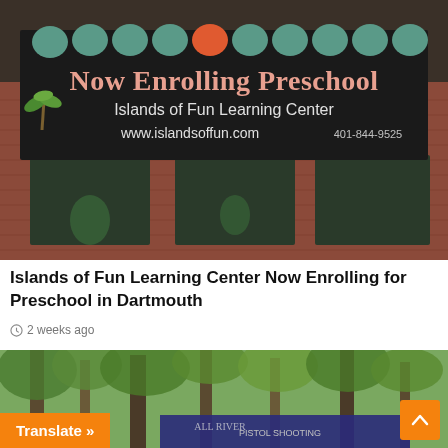[Figure (photo): Photo of a building exterior with a large black banner reading 'Now Enrolling Preschool – Islands of Fun Learning Center – www.islandsoffun.com – 401-844-9525']
Islands of Fun Learning Center Now Enrolling for Preschool in Dartmouth
2 weeks ago
[Figure (photo): Photo of a wooded outdoor area with trees and a banner in the background]
Translate »